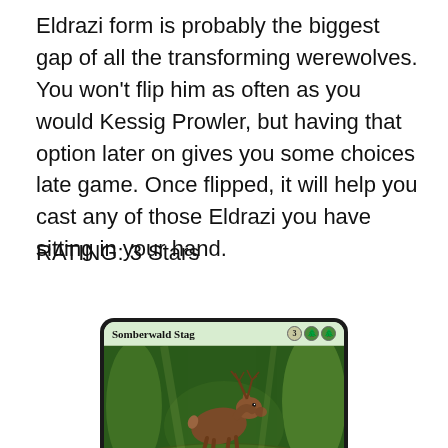Eldrazi form is probably the biggest gap of all the transforming werewolves. You won't flip him as often as you would Kessig Prowler, but having that option later on gives you some choices late game. Once flipped, it will help you cast any of those Eldrazi you have sitting in your hand.
RATING: 3 Stars
[Figure (photo): Magic: The Gathering card 'Somberwald Stag' with mana cost 3GG, art showing a brown elk/stag in a mystical green forest, card type: Creature — Elk]